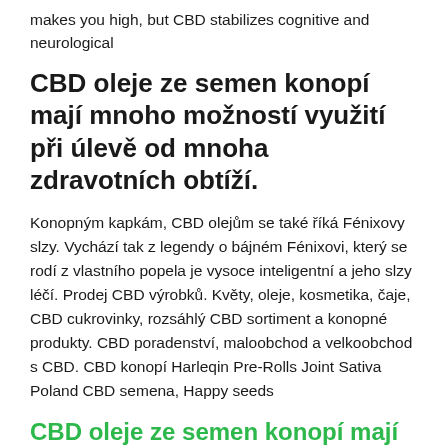makes you high, but CBD stabilizes cognitive and neurological
CBD oleje ze semen konopí mají mnoho možností využití při úlevě od mnoha zdravotních obtíží.
Konopným kapkám, CBD olejům se také říká Fénixovy slzy. Vychází tak z legendy o bájném Fénixovi, který se rodí z vlastního popela je vysoce inteligentní a jeho slzy léčí. Prodej CBD výrobků. Květy, oleje, kosmetika, čaje, CBD cukrovinky, rozsáhlý CBD sortiment a konopné produkty. CBD poradenství, maloobchod a velkoobchod s CBD. CBD konopí Harleqin Pre-Rolls Joint Sativa Poland CBD semena, Happy seeds
CBD oleje ze semen konopí mají mnoho možností využití při úlevě od